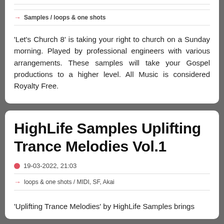Samples / loops & one shots
'Let's Church 8' is taking your right to church on a Sunday morning. Played by professional engineers with various arrangements. These samples will take your Gospel productions to a higher level. All Music is considered Royalty Free.
HighLife Samples Uplifting Trance Melodies Vol.1
19-03-2022, 21:03
loops & one shots / MIDI, SF, Akai
'Uplifting Trance Melodies' by HighLife Samples brings